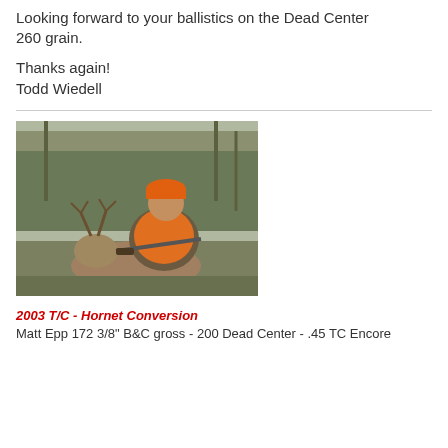Looking forward to your ballistics on the Dead Center 260 grain.
Thanks again!
Todd Wiedell
[Figure (photo): Young hunter in orange safety vest and hat posing with a harvested whitetail buck deer outdoors in a wooded area, holding a rifle.]
2003 T/C - Hornet Conversion
Matt Epp 172 3/8" B&C gross - 200 Dead Center - .45 TC Encore